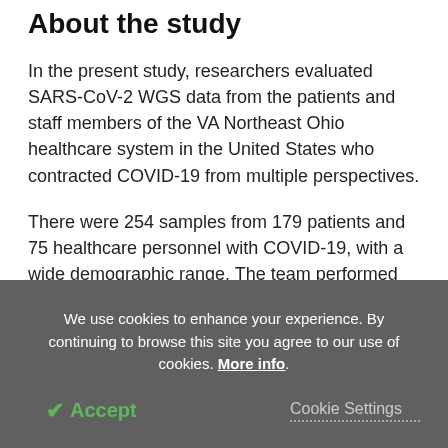About the study
In the present study, researchers evaluated SARS-CoV-2 WGS data from the patients and staff members of the VA Northeast Ohio healthcare system in the United States who contracted COVID-19 from multiple perspectives.
There were 254 samples from 179 patients and 75 healthcare personnel with COVID-19, with a wide demographic range. The team performed high-resolution contact tracing of SARS-CoV-2 infections to
We use cookies to enhance your experience. By continuing to browse this site you agree to our use of cookies. More info.
✔ Accept   Cookie Settings